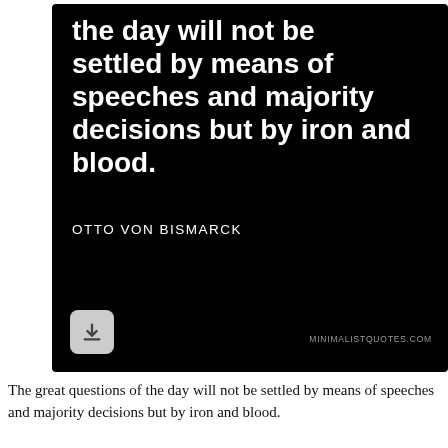[Figure (illustration): Black background quote card with large white bold text showing a partial quote: 'the day will not be settled by means of speeches and majority decisions but by iron and blood.' with attribution 'OTTO VON BISMARCK' below, and a download button and website URL at the bottom.]
The great questions of the day will not be settled by means of speeches and majority decisions but by iron and blood.